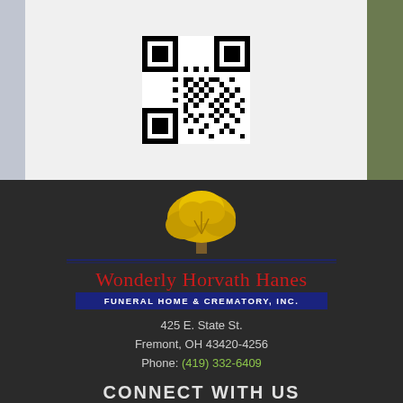[Figure (other): QR code centered in upper white/light gray section of funeral home page]
[Figure (logo): Wonderly Horvath Hanes Funeral Home & Crematory, Inc. logo with yellow tree, red script name, and dark blue banner subtitle]
425 E. State St.
Fremont, OH 43420-4256
Phone: (419) 332-6409
CONNECT WITH US